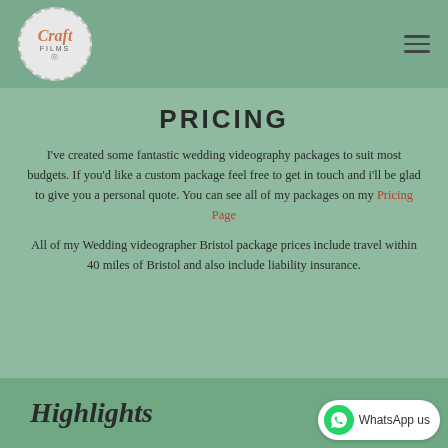[Figure (logo): Craft Films circular logo with decorative border, company name in cursive italic]
PRICING
I've created some fantastic wedding videography packages to suit most budgets. If you'd like a custom package feel free to get in touch and i'll be glad to give you a personal quote. You can see all of my packages on my Pricing Page
All of my Wedding videographer Bristol package prices include travel within 40 miles of Bristol and also include liability insurance.
Highlights